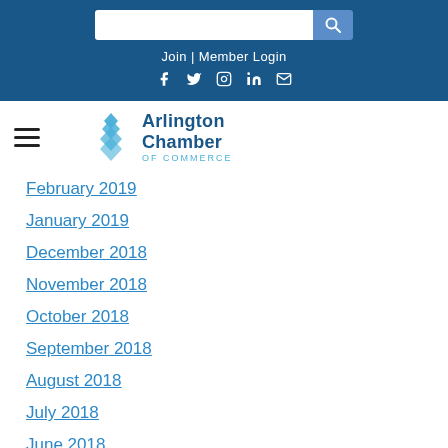Join | Member Login
[Figure (screenshot): Arlington Chamber of Commerce website header with search bar, Join/Member Login link, social media icons (Facebook, Twitter, Instagram, LinkedIn, Email), hamburger menu, and Arlington Chamber of Commerce logo]
February 2019
January 2019
December 2018
November 2018
October 2018
September 2018
August 2018
July 2018
June 2018